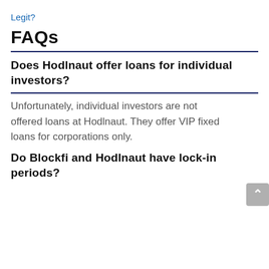Legit?
FAQs
Does Hodlnaut offer loans for individual investors?
Unfortunately, individual investors are not offered loans at Hodlnaut. They offer VIP fixed loans for corporations only.
Do Blockfi and Hodlnaut have lock-in periods?